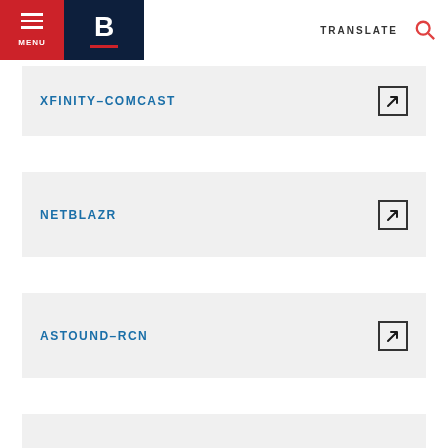MENU | B | TRANSLATE
XFINITY–COMCAST
NETBLAZR
ASTOUND–RCN
(partial card)